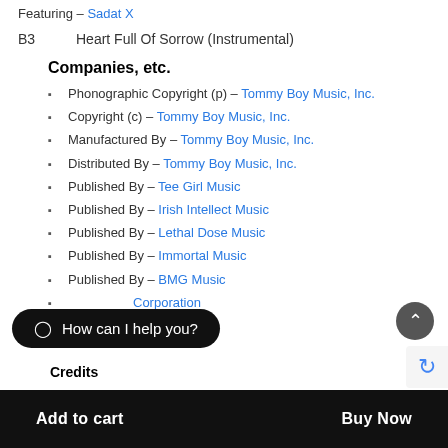Featuring – Sadat X
B3    Heart Full Of Sorrow (Instrumental)
Companies, etc.
Phonographic Copyright (p) – Tommy Boy Music, Inc.
Copyright (c) – Tommy Boy Music, Inc.
Manufactured By – Tommy Boy Music, Inc.
Distributed By – Tommy Boy Music, Inc.
Published By – Tee Girl Music
Published By – Irish Intellect Music
Published By – Lethal Dose Music
Published By – Immortal Music
Published By – BMG Music
...Corporation
Credits
How can I help you?
Add to cart    Buy Now